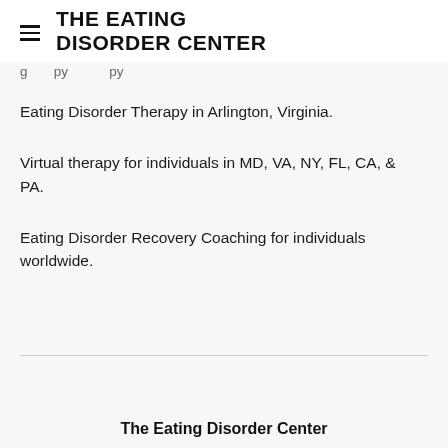THE EATING DISORDER CENTER
g ... py ... py
Eating Disorder Therapy in Arlington, Virginia.
Virtual therapy for individuals in MD, VA, NY, FL, CA, & PA.
Eating Disorder Recovery Coaching for individuals worldwide.
The Eating Disorder Center